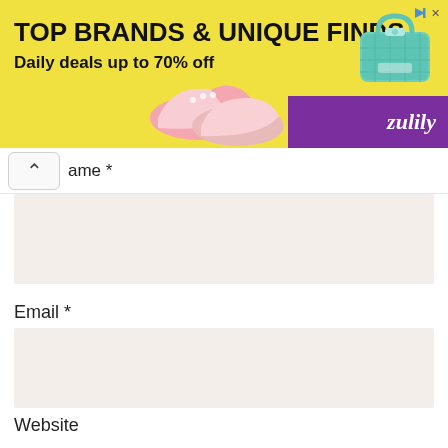[Figure (screenshot): Zulily advertisement banner with yellow background. Text: 'TOP BRANDS & UNIQUE FINDS', 'Daily deals up to 70% off'. Purple Zulily logo in bottom right corner. Images of children's shoes and a teal handbag.]
ame *
Email *
Website
Save my name, email, and website in this